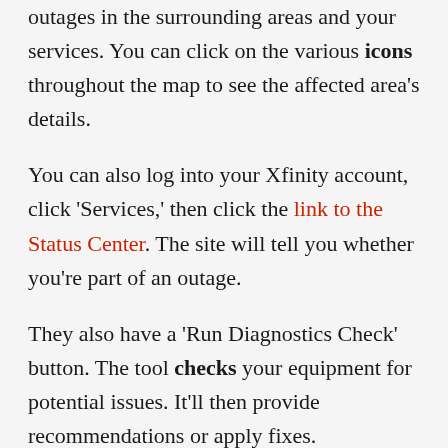Comcast also has an Outage Map. The map displays outages in the surrounding areas and your services. You can click on the various icons throughout the map to see the affected area's details.
You can also log into your Xfinity account, click ‘Services,’ then click the link to the Status Center. The site will tell you whether you’re part of an outage.
They also have a ‘Run Diagnostics Check’ button. The tool checks your equipment for potential issues. It’ll then provide recommendations or apply fixes.